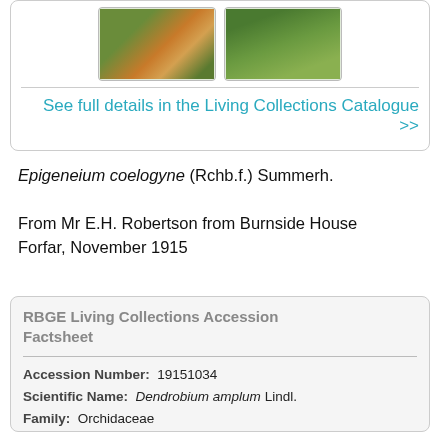[Figure (photo): Two thumbnail photos of orchid plants with orange/yellow flowers on the left and green foliage on the right, inside a rounded card with a link to the Living Collections Catalogue]
See full details in the Living Collections Catalogue >>
Epigeneium coelogyne (Rchb.f.) Summerh.
From Mr E.H. Robertson from Burnside House Forfar, November 1915
RBGE Living Collections Accession Factsheet
| Field | Value |
| --- | --- |
| Accession Number: | 19151034 |
| Scientific Name: | Dendrobium amplum Lindl. |
| Family: | Orchidaceae |